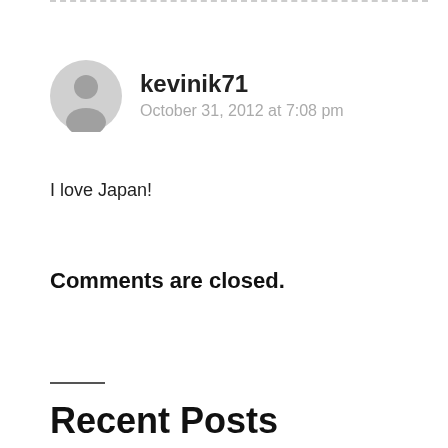[Figure (illustration): Dashed top border line cropped at top of page]
[Figure (illustration): Gray circular avatar/profile icon with a silhouette of a person]
kevinik71
October 31, 2012 at 7:08 pm
I love Japan!
Comments are closed.
Recent Posts